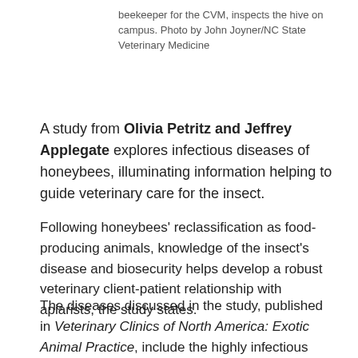beekeeper for the CVM, inspects the hive on campus. Photo by John Joyner/NC State Veterinary Medicine
A study from Olivia Petritz and Jeffrey Applegate explores infectious diseases of honeybees, illuminating information helping to guide veterinary care for the insect.
Following honeybees' reclassification as food-producing animals, knowledge of the insect's disease and biosecurity helps develop a robust veterinary client-patient relationship with apiarists, the study states.
The diseases discussed in the study, published in Veterinary Clinics of North America: Exotic Animal Practice, include the highly infectious bacterial disease American foulbrood and European foulbrood; the microsporidial disease Nosema